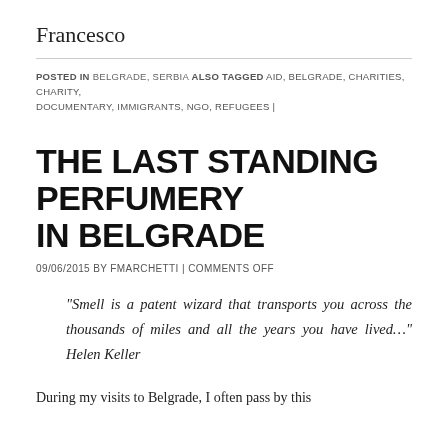Francesco
POSTED IN BELGRADE, SERBIA ALSO TAGGED AID, BELGRADE, CHARITIES, CHARITY, DOCUMENTARY, IMMIGRANTS, NGO, REFUGEES |
THE LAST STANDING PERFUMERY IN BELGRADE
09/06/2015 BY FMARCHETTI | COMMENTS OFF
“Smell is a patent wizard that transports you across the thousands of miles and all the years you have lived...” Helen Keller
During my visits to Belgrade, I often pass by this